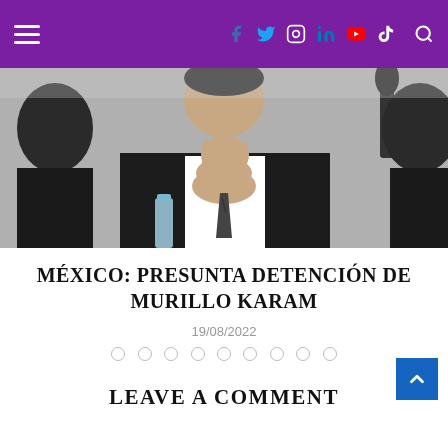Navigation bar with hamburger menu, social icons (Facebook, Twitter, Instagram, LinkedIn, YouTube, TikTok), and search icon
[Figure (photo): A man in a dark suit with his hands pressed together near his face in a prayer-like gesture, seated at a table with a microphone visible on the right and a water bottle on the left. The image is cropped showing parts of other individuals on either side.]
MÉXICO: PRESUNTA DETENCIÓN DE MURILLO KARAM
19/08/2022
• • • • • • • • •
LEAVE A COMMENT